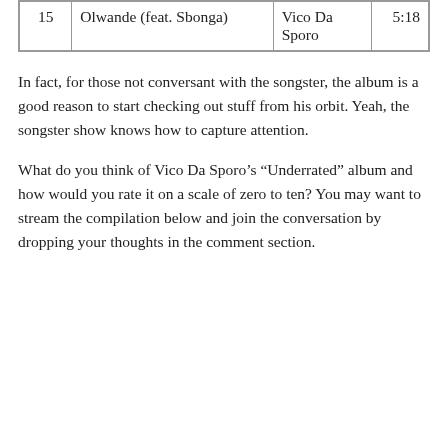| # | Title | Artist | Duration |
| --- | --- | --- | --- |
| 15 | Olwande (feat. Sbonga) | Vico Da Sporo | 5:18 |
In fact, for those not conversant with the songster, the album is a good reason to start checking out stuff from his orbit. Yeah, the songster show knows how to capture attention.
What do you think of Vico Da Sporo’s “Underrated” album and how would you rate it on a scale of zero to ten? You may want to stream the compilation below and join the conversation by dropping your thoughts in the comment section.